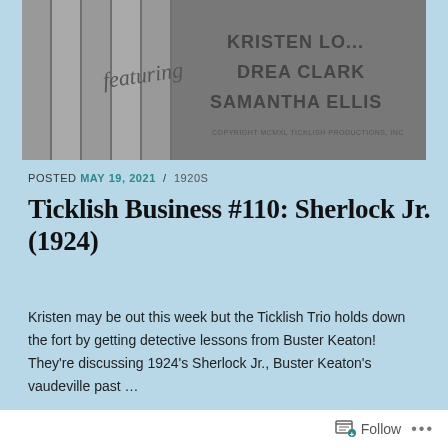[Figure (photo): A grayscale movie title card featuring 'featuring' in script, and names KRISTEN LO..., DREA CLARK, SAMANTHA ELLIS. Copyright MCMXL Ticklish Productions, Inc.]
POSTED MAY 19, 2021 / 1920S
Ticklish Business #110: Sherlock Jr. (1924)
Kristen may be out this week but the Ticklish Trio holds down the fort by getting detective lessons from Buster Keaton! They're discussing 1924's Sherlock Jr., Buster Keaton's vaudeville past ...
Continue Reading
[Figure (photo): Partial bottom image showing illustrated characters, cropped at bottom of page]
Follow ...